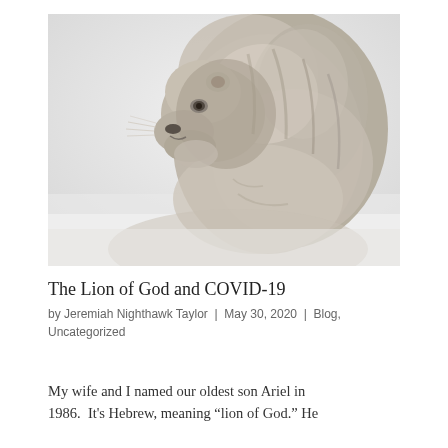[Figure (photo): Black and white photograph of a lion in profile view, facing left, with a large flowing mane. The background is a light, hazy white/grey. The lion appears majestic and regal.]
The Lion of God and COVID-19
by Jeremiah Nighthawk Taylor | May 30, 2020 | Blog, Uncategorized
My wife and I named our oldest son Ariel in 1986. It's Hebrew, meaning “lion of God.” He